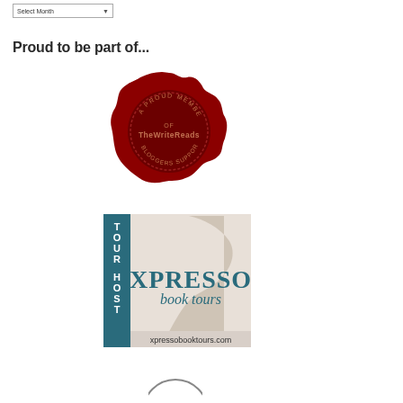Select Month
Proud to be part of...
[Figure (illustration): Red wax seal stamp reading 'A Proud Member of TheWriteReads Bloggers Supporting Bloggers']
[Figure (logo): Xpresso Book Tours logo with 'TOUR HOST' text on teal sidebar and xpressobooktours.com URL]